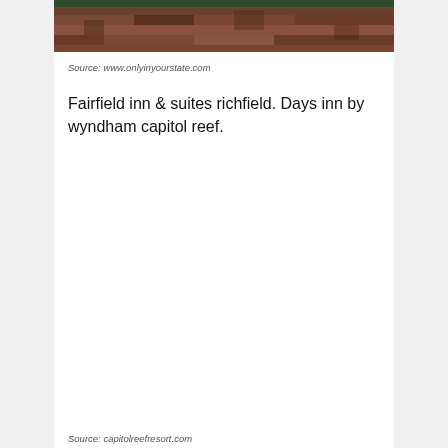[Figure (photo): Partial landscape photo showing reddish-brown rocky terrain at top of page, cropped]
Source: www.onlyinyourstate.com
Fairfield inn & suites richfield. Days inn by wyndham capitol reef.
Source: capitolreefresort.com